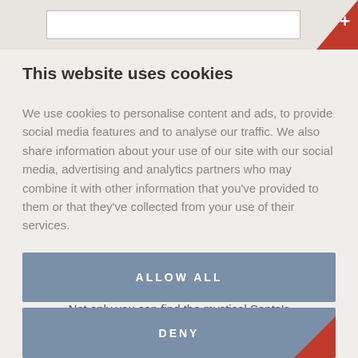[Figure (screenshot): Top navigation bar with white input field and red plus button]
This website uses cookies
We use cookies to personalise content and ads, to provide social media features and to analyse our traffic. We also share information about your use of our site with our social media, advertising and analytics partners who may combine it with other information that you've provided to them or that they've collected from your use of their services.
ATTRACTION
Urho Kekkonen National Park
[Figure (screenshot): ALLOW ALL button (blue-grey)]
Not only you can find the mystical Santa's home fell in the Urho Kekkonen National Park, but many other things as well.
[Figure (screenshot): DENY button (blue-grey) with red corner accent]